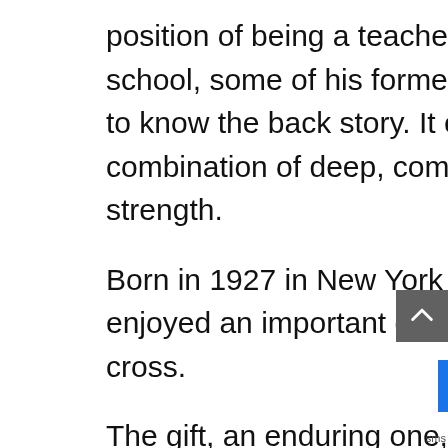position of being a teacher and head of their alternative high school, some of his former students might have been surprised to know the back story. It explains Coach's powerful combination of deep, compassionate understanding and strength.
Born in 1927 in New York City, “Coach” Leslie Fernandez enjoyed an important gift in his life, and endured a significant cross.
The gift, an enduring one, was Fernandez’s parents’ unconditional love. No matter what he did or didn’t do, Coach always knew that Chelsie and Leslie Fernandez Sr. loved him.
But the cross, a harsh one at the time, likewise had